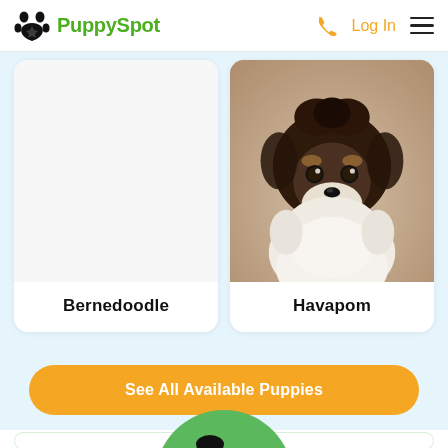PuppySpot  Log In
[Figure (photo): Havapom puppy photo - fluffy dark brown and white puppy looking at camera]
Bernedoodle
Havapom
See All Available Puppies
[Figure (illustration): Green circle with family illustration - parent and child holding a puppy]